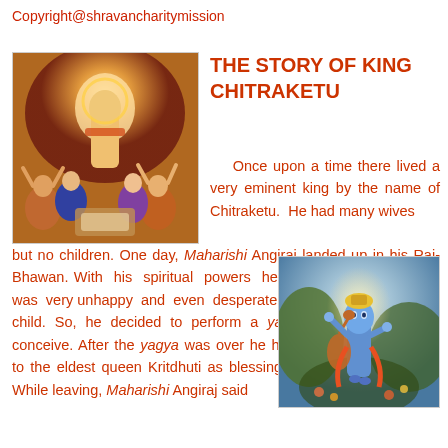Copyright@shravancharitymission
[Figure (illustration): Religious illustration showing a divine figure with glowing aura surrounded by worshippers, in orange and blue tones]
THE STORY OF KING CHITRAKETU
Once upon a time there lived a very eminent king by the name of Chitraketu. He had many wives but no children. One day, Maharishi Angiraj landed up in his Raj-Bhawan. With his spiritual powers he deciphered, Chitraketu was very unhappy and even desperate for a child. So, he decided to perform a yagya to help his queen conceive. After the yagya was over he handed over the leftovers to the eldest queen Kritdhuti as blessings and decided to leave. While leaving, Maharishi Angiraj said
[Figure (illustration): Religious illustration showing a blue-skinned deity figure with multiple arms in a forest setting]